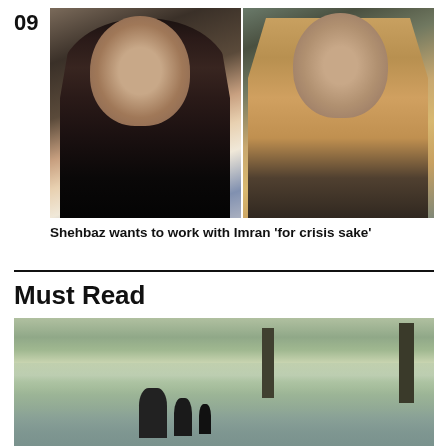09
[Figure (photo): Two photos side by side: left shows Imran Khan in dark suit, right shows Shehbaz Sharif in khaki shirt with arms crossed]
Shehbaz wants to work with Imran 'for crisis sake'
Must Read
[Figure (photo): Flood scene with people wading through water in a flooded agricultural field, silhouettes of people and trees visible]